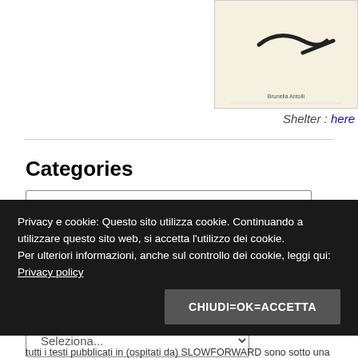[Figure (illustration): Book cover image with abstract symbol on cream background, small text at bottom reading 'Brunella Antolli']
Shelter : here
Categories
Seleziona una categoria
Archivi
Seleziona...
Privacy e cookie: Questo sito utilizza cookie. Continuando a utilizzare questo sito web, si accetta l'utilizzo dei cookie.
Per ulteriori informazioni, anche sul controllo dei cookie, leggi qui: Privacy policy
CHIUDI=OK=ACCETTA
tutti i testi pubblicati in (ospitati da) SLOWFORWARD sono sotto una